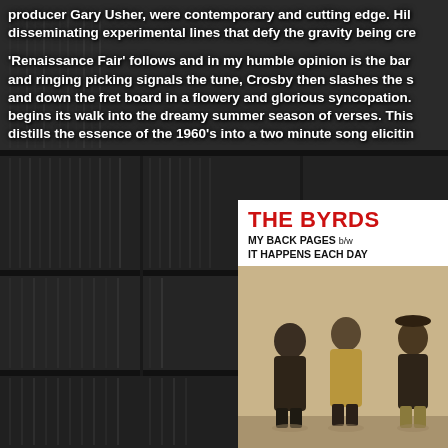This album was released in February 1967, so its experimental techniques, honed with producer Gary Usher, were contemporary and cutting edge. Hillman and Crosby were disseminating experimental lines that defy the gravity being created all around them.
'Renaissance Fair' follows and in my humble opinion is the barnstormer of the album, and ringing picking signals the tune, Crosby then slashes the strings brilliantly up and down the fret board in a flowery and glorious syncopation. The bass then begins its walk into the dreamy summer season of verses. This song perfectly distills the essence of the 1960's into a two minute song eliciting...
[Figure (photo): The Byrds single cover for 'My Back Pages b/w It Happens Each Day'. White background with red bold text 'THE BYRDS' at top, black text 'MY BACK PAGES b/w IT HAPPENS EACH DAY' below, and a photo of three band members standing.]